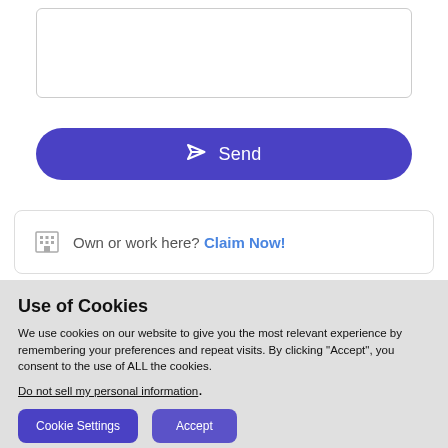[Figure (screenshot): Empty text input box with light gray border]
[Figure (screenshot): Send button with paper plane icon and 'Send' text on purple/indigo background]
Own or work here? Claim Now!
Use of Cookies
We use cookies on our website to give you the most relevant experience by remembering your preferences and repeat visits. By clicking “Accept”, you consent to the use of ALL the cookies.
Do not sell my personal information.
Cookie Settings
Accept